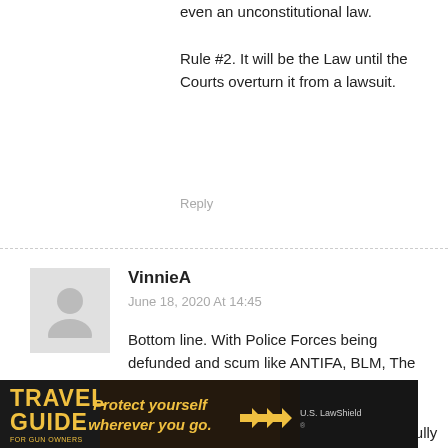even an unconstitutional law.
Rule #2. It will be the Law until the Courts overturn it from a lawsuit.
Reply
VinnieA
June 18, 2020 At 14:45
Bottom line. With Police Forces being defunded and scum like ANTIFA, BLM, The Democrat Party and other Terrorist Organizations committing Murder and Mayhem we need MORE GUNS including fully automatic, long and short barrel Rifles, pistols with silencers etc, etc, etc!

The War Has started and We the People need to be able to DEFEND OURSELVES!
[Figure (infographic): Travel Guide for Gun Owners advertisement banner with text 'Protect yourself wherever you go.' and US LawShield logo]